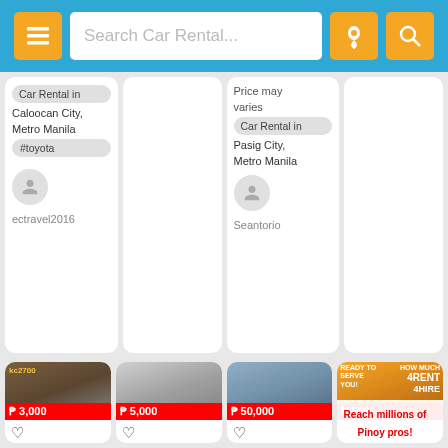[Figure (screenshot): Car rental app search bar with grid icon, search field 'Search Car Rental...', location and search buttons in orange on blue background]
Car Rental in
Caloocan City,
Metro Manila
#toyota
ectravel2016
Price may varies
Car Rental in
Pasig City,
Metro Manila
Seantorio
[Figure (photo): Van truck photo with price tag ₱ 3,000. Listing: Kc2700 for Rent, 3 years ago]
[Figure (photo): Toyota Fortuner SUV photo with price tag ₱ 5,000. Listing: Rent a Car #fortuner]
[Figure (photo): Silver car photo with price tag ₱ 50,000. Listing: Rent a Car Hyundai]
[Figure (photo): Advertisement photo with price tag ₱ 500. Listing: L300 VAN FB FOR RENT. Overlay: Reach millions of Pinoy pros!]